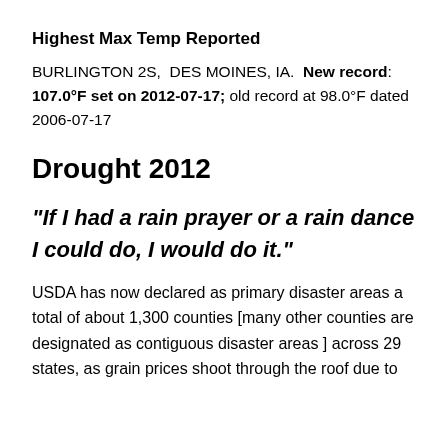Highest Max Temp Reported
BURLINGTON 2S,  DES MOINES, IA.  New record: 107.0°F set on 2012-07-17; old record at 98.0°F dated 2006-07-17
Drought 2012
“If I had a rain prayer or a rain dance I could do, I would do it.”
USDA has now declared as primary disaster areas a total of about 1,300 counties [many other counties are designated as contiguous disaster areas ] across 29 states, as grain prices shoot through the roof due to